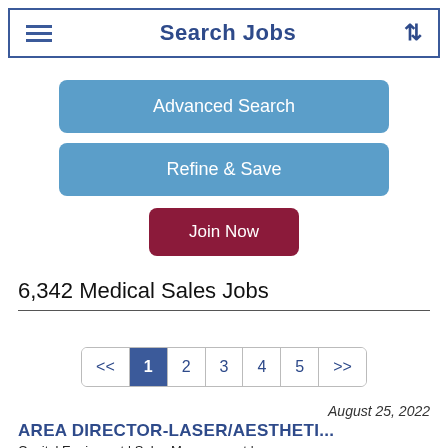Search Jobs
Advanced Search
Refine & Save
Join Now
6,342 Medical Sales Jobs
<< 1 2 3 4 5 >>
August 25, 2022
AREA DIRECTOR-LASER/AESTHETI...
Capital Equipment | Sales Management | ...